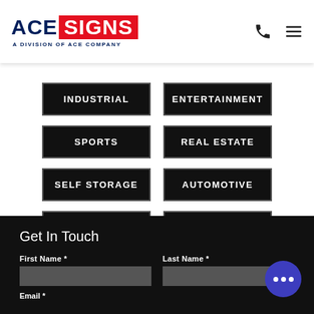ACE SIGNS — A DIVISION OF ACE COMPANY
INDUSTRIAL
ENTERTAINMENT
SPORTS
REAL ESTATE
SELF STORAGE
AUTOMOTIVE
PHARMACY
RESIDENTIAL
Get In Touch
First Name * Last Name * Email *